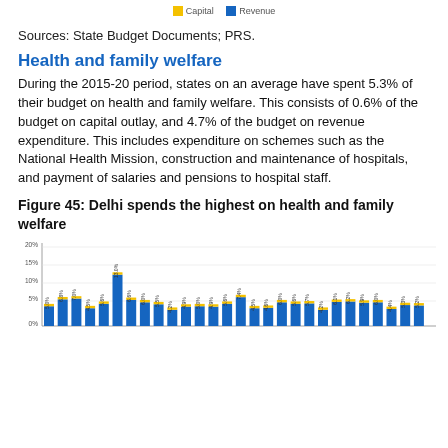[Figure (other): Legend row showing Capital and Revenue color indicators (partial, top of page)]
Sources: State Budget Documents; PRS.
Health and family welfare
During the 2015-20 period, states on an average have spent 5.3% of their budget on health and family welfare. This consists of 0.6% of the budget on capital outlay, and 4.7% of the budget on revenue expenditure. This includes expenditure on schemes such as the National Health Mission, construction and maintenance of hospitals, and payment of salaries and pensions to hospital staff.
Figure 45: Delhi spends the highest on health and family welfare
[Figure (bar-chart): Delhi spends the highest on health and family welfare]